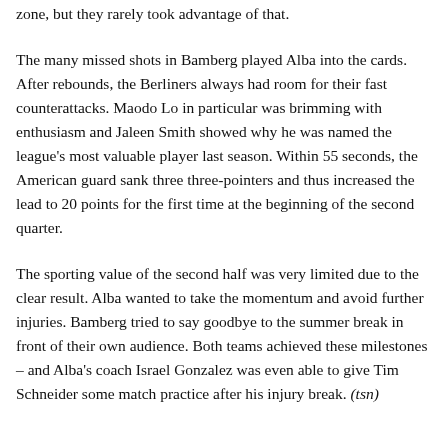zone, but they rarely took advantage of that.
The many missed shots in Bamberg played Alba into the cards. After rebounds, the Berliners always had room for their fast counterattacks. Maodo Lo in particular was brimming with enthusiasm and Jaleen Smith showed why he was named the league's most valuable player last season. Within 55 seconds, the American guard sank three three-pointers and thus increased the lead to 20 points for the first time at the beginning of the second quarter.
The sporting value of the second half was very limited due to the clear result. Alba wanted to take the momentum and avoid further injuries. Bamberg tried to say goodbye to the summer break in front of their own audience. Both teams achieved these milestones – and Alba's coach Israel Gonzalez was even able to give Tim Schneider some match practice after his injury break. (tsn)